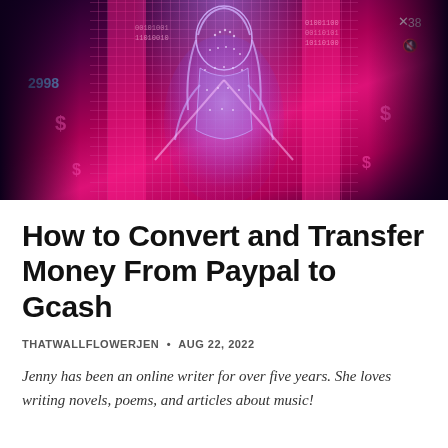[Figure (illustration): Digital/cyberpunk style hero image showing a glowing purple/blue female figure silhouette made of binary code and digital pixels, set against a vivid pink and magenta pixel grid background with scattered dollar signs and binary numbers. UI overlay elements show an X (close) and mute icon in the top right corner.]
How to Convert and Transfer Money From Paypal to Gcash
THATWALLFLOWERJEN • AUG 22, 2022
Jenny has been an online writer for over five years. She loves writing novels, poems, and articles about music!